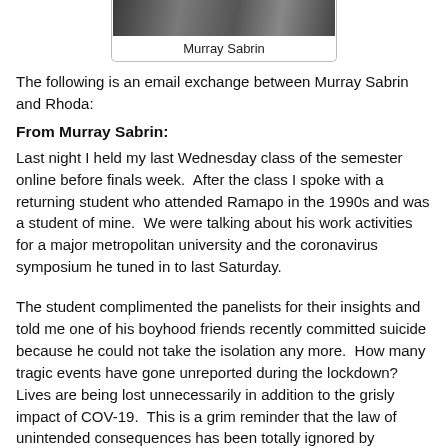[Figure (photo): Photo of Murray Sabrin with caption below]
Murray Sabrin
The following is an email exchange between Murray Sabrin and Rhoda:
From Murray Sabrin:
Last night I held my last Wednesday class of the semester online before finals week.  After the class I spoke with a returning student who attended Ramapo in the 1990s and was a student of mine.  We were talking about his work activities for a major metropolitan university and the coronavirus symposium he tuned in to last Saturday.
The student complimented the panelists for their insights and told me one of his boyhood friends recently committed suicide because he could not take the isolation any more.  How many tragic events have gone unreported during the lockdown?  Lives are being lost unnecessarily in addition to the grisly impact of COV-19.  This is a grim reminder that the law of unintended consequences has been totally ignored by